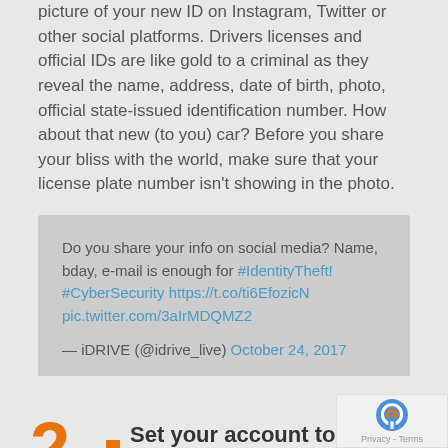picture of your new ID on Instagram, Twitter or other social platforms. Drivers licenses and official IDs are like gold to a criminal as they reveal the name, address, date of birth, photo, official state-issued identification number. How about that new (to you) car? Before you share your bliss with the world, make sure that your license plate number isn't showing in the photo.
Do you share your info on social media? Name, bday, e-mail is enough for #IdentityTheft! #CyberSecurity https://t.co/ti6EfozicN pic.twitter.com/3aIrMDQMZ2 — iDRIVE (@idrive_live) October 24, 2017
2. Set your account to private.
The most obvious way to keep your information and